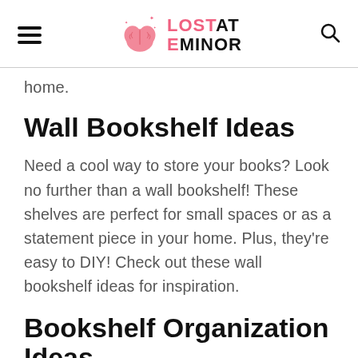LOST AT EMINOR
home.
Wall Bookshelf Ideas
Need a cool way to store your books? Look no further than a wall bookshelf! These shelves are perfect for small spaces or as a statement piece in your home. Plus, they're easy to DIY! Check out these wall bookshelf ideas for inspiration.
Bookshelf Organization Ideas